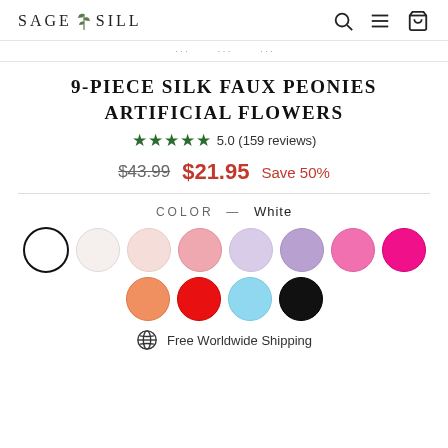SAGE SILL
9-PIECE SILK FAUX PEONIES ARTIFICIAL FLOWERS
5.0 (159 reviews)
$43.99  $21.95  Save 50%
COLOR — White
[Figure (illustration): Color swatches row 1: white (selected), cream/ivory, light pink, pink, light lavender, medium lavender, hot pink/magenta light, hot pink/magenta]
[Figure (illustration): Color swatches row 2: orange, red, light blue, black]
Free Worldwide Shipping